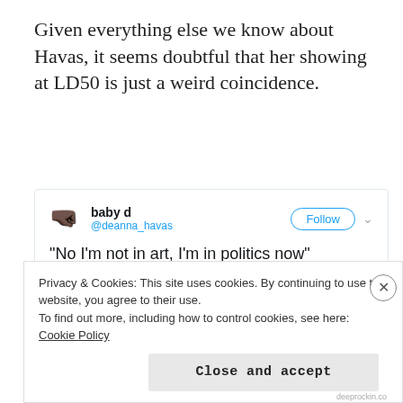Given everything else we know about Havas, it seems doubtful that her showing at LD50 is just a weird coincidence.
[Figure (screenshot): A screenshot of a tweet by 'baby d' (@deanna_havas) with a Follow button, the tweet text reads: “No I’m not in art, I’m in politics now” with a close-up photo of a person’s face (eye and cheek visible).]
Privacy & Cookies: This site uses cookies. By continuing to use this website, you agree to their use.
To find out more, including how to control cookies, see here: Cookie Policy
Close and accept